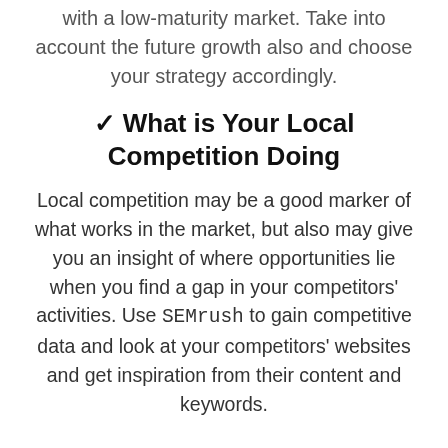with a low-maturity market. Take into account the future growth also and choose your strategy accordingly.
✓ What is Your Local Competition Doing
Local competition may be a good marker of what works in the market, but also may give you an insight of where opportunities lie when you find a gap in your competitors' activities. Use SEMrush to gain competitive data and look at your competitors' websites and get inspiration from their content and keywords.